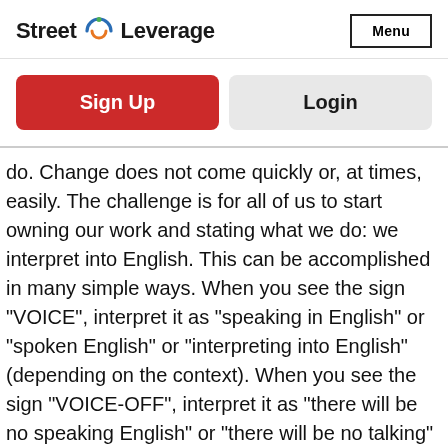Street Leverage | Menu
Sign Up
Login
do. Change does not come quickly or, at times, easily. The challenge is for all of us to start owning our work and stating what we do: we interpret into English. This can be accomplished in many simple ways. When you see the sign "VOICE", interpret it as "speaking in English" or "spoken English" or "interpreting into English" (depending on the context). When you see the sign "VOICE-OFF", interpret it as "there will be no speaking English" or "there will be no talking" or "do not use spoken English". The same can be said with the sign HEARING: this can be interpreted as "people who can hear". Teachers who work in interpreting programs